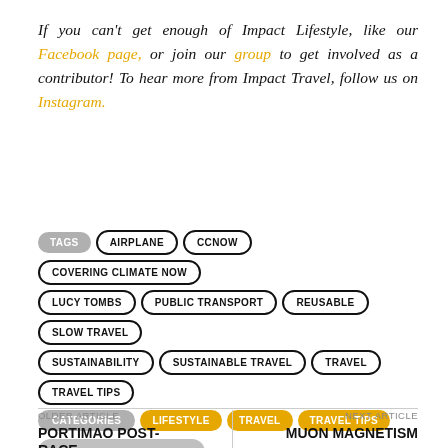If you can't get enough of Impact Lifestyle, like our Facebook page, or join our group to get involved as a contributor! To hear more from Impact Travel, follow us on Instagram.
TAGS: AIRPLANE, CCNOW, COVERING CLIMATE NOW, LUCY TOMBS, PUBLIC TRANSPORT, REUSABLE, SLOW TRAVEL, SUSTAINABILITY, SUSTAINABLE TRAVEL, TRAVEL, TRAVEL TIPS
CATEGORIES: LIFESTYLE, TRAVEL, TRAVEL TIPS
SHARE THIS ARTICLE
FACEBOOK  TWITTER  GOOGLE  PINTEREST  REDDIT
OLDER ARTICLE
PORTIMAO POST-RACE
NEXT ARTICLE
MUON MAGNETISM